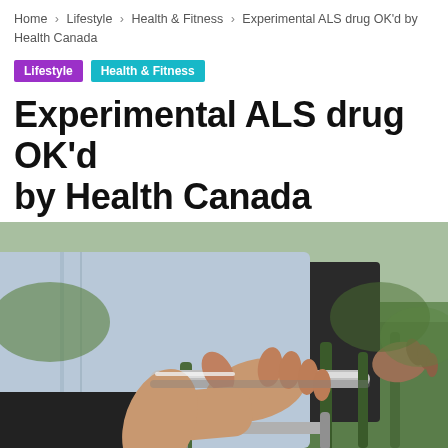Home > Lifestyle > Health & Fitness > Experimental ALS drug OK'd by Health Canada
Lifestyle | Health & Fitness
Experimental ALS drug OK’d by Health Canada
By World ABC News - June 14, 2022  👁 43  💬 0
[Figure (photo): Close-up photograph of a person's hand gripping the metal handle of a walker/mobility aid outdoors, with green grass in background and another person visible in background also holding a mobility device.]